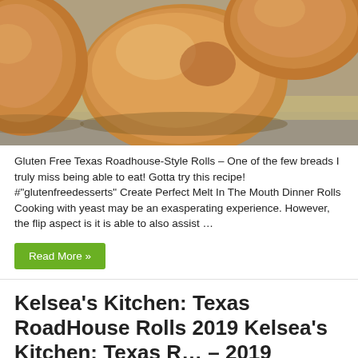[Figure (photo): Close-up photo of golden-brown baked dinner rolls on parchment paper on a baking sheet]
Gluten Free Texas Roadhouse-Style Rolls – One of the few breads I truly miss being able to eat! Gotta try this recipe! #"glutenfreedesserts" Create Perfect Melt In The Mouth Dinner Rolls Cooking with yeast may be an exasperating experience. However, the flip aspect is it is able to also assist …
Read More »
Kelsea's Kitchen: Texas RoadHouse Rolls 2019 Kelsea's Kitchen: Texas R… – 2019
July 29, 2019  Texas Roadhouse Rolls  0  136